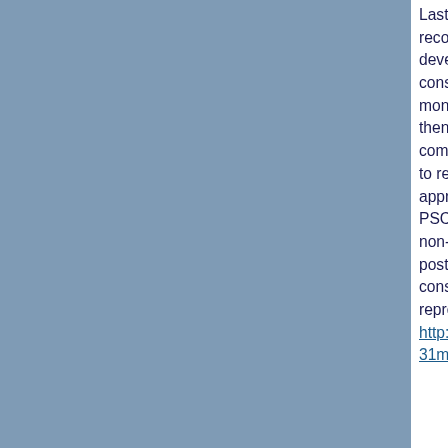Last February, the President's Strategy C... recommended creation of an experts com... develop accountability mechanisms for th... consideration. The PSC recommendation... months of work and significant community... then implement that recommendation, sta... comment on bylaw changes to create a d... to replace the deficient independent revie... approach, described by staff as an imple... PSC recommendations, was developed i... non-transparent process and, according t... posting, without Board input. ("The Board considered these proposals nor do these represent the views of the Board." http://www.icann.org/en/jpa/iic/iic-the-way... 31may09-en.pdf )
I hope members of the ICANN community... comment fatigue and let the Board know h... that it should reject the staff proposal and... PSC recommendation to create an exper...
( Read More... |  )
Is the rug to be pulled out from under registrants?